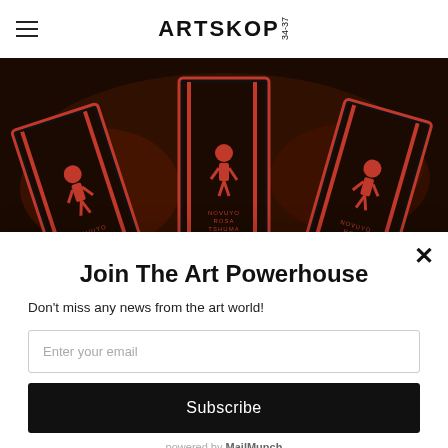ARTSKOP 34-37
[Figure (photo): Close-up photo of book spines or product packaging with red figures on black background, text reads NOVUYO ROSA TSHUMA repeated across three panels]
Join The Art Powerhouse
Don't miss any news from the art world!
Enter your email
Subscribe
powered by MailMunch